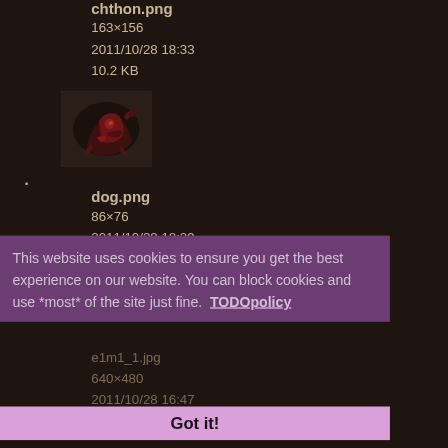chthon.png
163×156
2011/10/28 18:33
10.2 KB
[Figure (photo): Thumbnail image of a creature (chthon) with red and dark colors on dark background]
dog.png
86×76
2011/10/28 18:29
3.4 KB
This website uses cookies to ensure you get the best experience on our website. You can block cookies and use *most* of the site just fine.  TODOpolicy
e1m1_1.jpg
640×480
2011/10/28 16:47
25.2 KB
Got it!